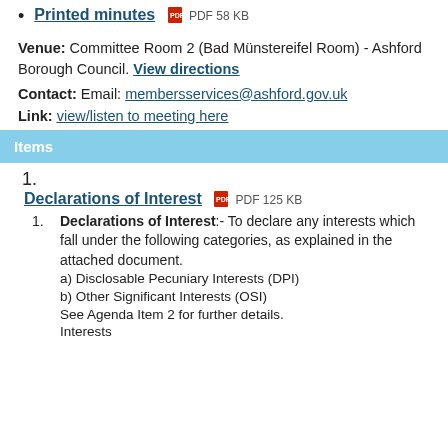Printed minutes  PDF 58 KB
Venue: Committee Room 2 (Bad Münstereifel Room) - Ashford Borough Council. View directions
Contact: Email: membersservices@ashford.gov.uk
Link: view/listen to meeting here
Items
1.
Declarations of Interest  PDF 125 KB
1. Declarations of Interest:- To declare any interests which fall under the following categories, as explained in the attached document. a) Disclosable Pecuniary Interests (DPI) b) Other Significant Interests (OSI) See Agenda Item 2 for further details. c) Other Interests